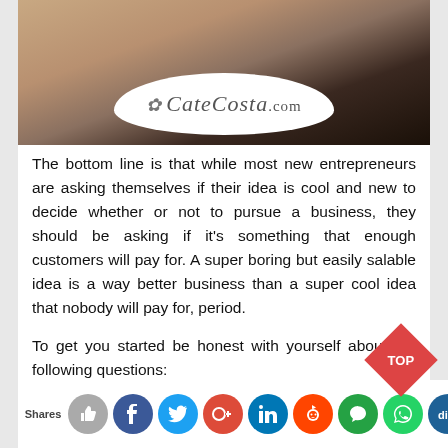[Figure (photo): Partial photo of a woman with dark hair in a dark top, with a white oval overlay showing the CateCosta.com logo in cursive script]
The bottom line is that while most new entrepreneurs are asking themselves if their idea is cool and new to decide whether or not to pursue a business, they should be asking if it's something that enough customers will pay for. A super boring but easily salable idea is a way better business than a super cool idea that nobody will pay for, period.
To get you started be honest with yourself about the following questions:
What is the problem I'm solving and are solving it?